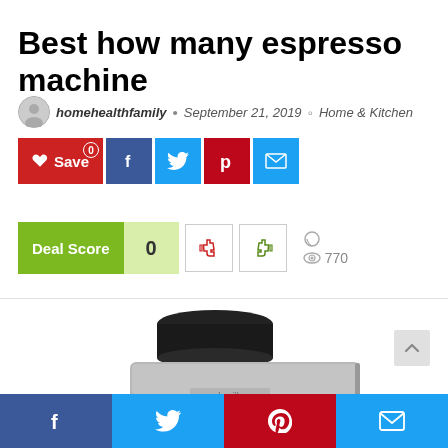Best how many espresso machine
homehealthfamily • September 21, 2019 • Home & Kitchen
[Figure (other): Social sharing buttons: Save (red), Facebook (dark blue), Twitter (light blue), Pinterest (red), Email (blue)]
[Figure (other): Deal Score widget showing 0, with thumbs down and thumbs up vote buttons, comment icon, and view count 770]
[Figure (photo): Photo of a Breville espresso machine with built-in grinder, stainless steel finish, viewed from the front-side angle]
[Figure (other): Bottom social sharing bar with Facebook, Twitter, Pinterest, and Email buttons]